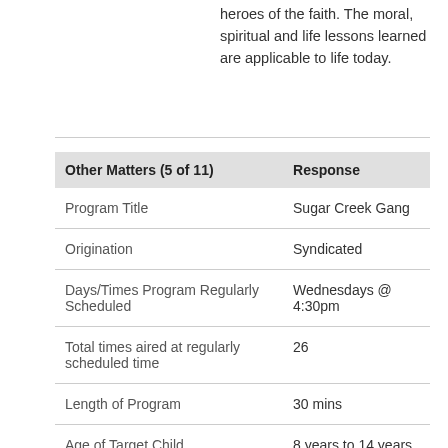heroes of the faith. The moral, spiritual and life lessons learned are applicable to life today.
| Other Matters (5 of 11) | Response |
| --- | --- |
| Program Title | Sugar Creek Gang |
| Origination | Syndicated |
| Days/Times Program Regularly Scheduled | Wednesdays @ 4:30pm |
| Total times aired at regularly scheduled time | 26 |
| Length of Program | 30 mins |
| Age of Target Child | 8 years to 14 years |